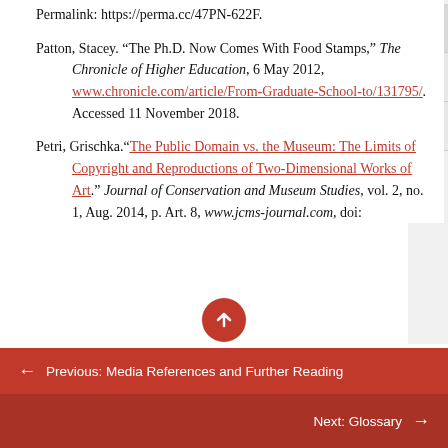Permalink: https://perma.cc/47PN-622F.
Patton, Stacey. “The Ph.D. Now Comes With Food Stamps,” The Chronicle of Higher Education, 6 May 2012, www.chronicle.com/article/From-Graduate-School-to/131795/. Accessed 11 November 2018.
Petri, Grischka.“The Public Domain vs. the Museum: The Limits of Copyright and Reproductions of Two-Dimensional Works of Art.” Journal of Conservation and Museum Studies, vol. 2, no. 1, Aug. 2014, p. Art. 8, www.jcms-journal.com, doi:
← Previous: Media References and Further Reading
Next: Glossary →